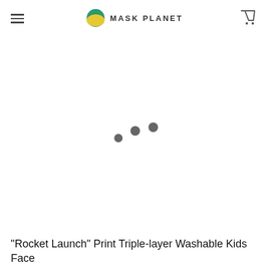MASK PLANET
[Figure (illustration): Loading spinner with three dots of varying sizes arranged diagonally]
"Rocket Launch" Print Triple-layer Washable Kids Face